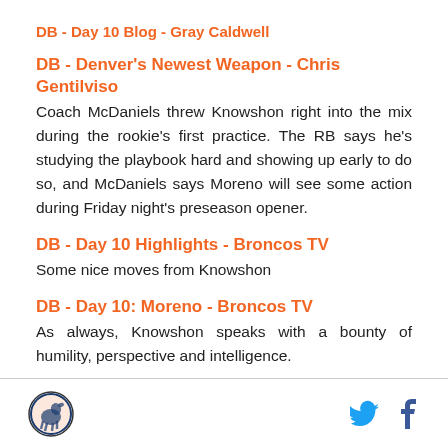DB - Day 10 Blog - Gray Caldwell
DB - Denver's Newest Weapon - Chris Gentilviso
Coach McDaniels threw Knowshon right into the mix during the rookie's first practice. The RB says he's studying the playbook hard and showing up early to do so, and McDaniels says Moreno will see some action during Friday night's preseason opener.
DB - Day 10 Highlights - Broncos TV
Some nice moves from Knowshon
DB - Day 10: Moreno - Broncos TV
As always, Knowshon speaks with a bounty of humility, perspective and intelligence.
Logo | Twitter | Facebook